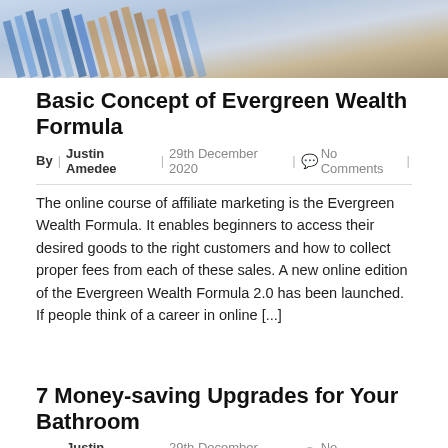[Figure (photo): Top portion of a financial or data chart image, showing colorful bar or line chart elements, partially cropped at the top of the page.]
Basic Concept of Evergreen Wealth Formula
By  |  Justin Amedee  |  29th December 2020  |  💬  No Comments  |
The online course of affiliate marketing is the Evergreen Wealth Formula. It enables beginners to access their desired goods to the right customers and how to collect proper fees from each of these sales. A new online edition of the Evergreen Wealth Formula 2.0 has been launched. If people think of a career in online [...]
7 Money-saving Upgrades for Your Bathroom
By  |  Justin Amedee  |  29th December 2020  |  💬  No Comments  |
Meta-Description: Make your bathroom more comfortable and